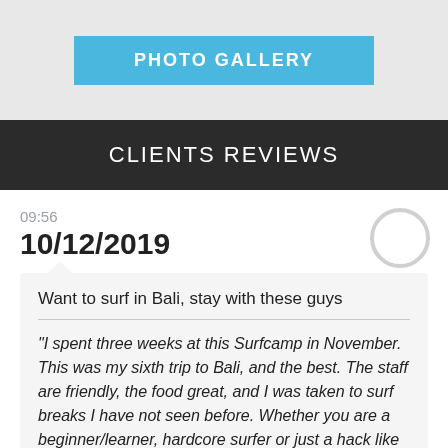[Figure (screenshot): Blue 'PHOTO GALLERY' button on light gray background]
CLIENTS REVIEWS
09:56
10/12/2019
Want to surf in Bali, stay with these guys
"I spent three weeks at this Surfcamp in November. This was my sixth trip to Bali, and the best. The staff are friendly, the food great, and I was taken to surf breaks I have not seen before. Whether you are a beginner/learner, hardcore surfer or just a hack like me you wants to surf every day, two or three times, this team will give you the best chance to get the waves of your life."